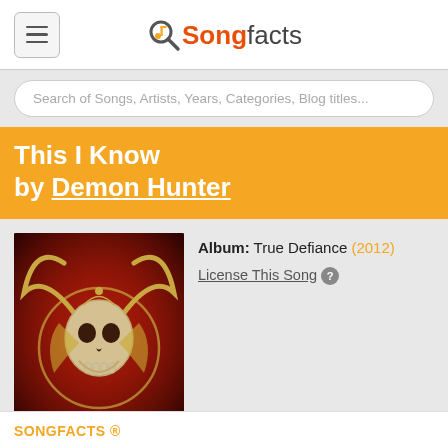Songfacts
Search of Songs, Artists, Years, Categories, Blog titles...
This I Know
by Demon Hunter
[Figure (illustration): Album cover for True Defiance by Demon Hunter: dark red background with a skeletal skull and horns artwork forming a circular design]
Album: True Defiance (2012)
License This Song
SONGFACTS ®